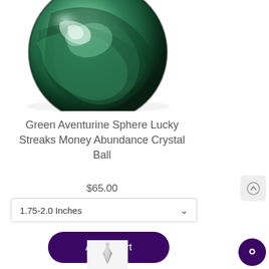[Figure (photo): Green Aventurine crystal sphere with swirling green and white patterns, photographed against a white background]
Green Aventurine Sphere Lucky Streaks Money Abundance Crystal Ball
$65.00
1.75-2.0 Inches
Add to cart